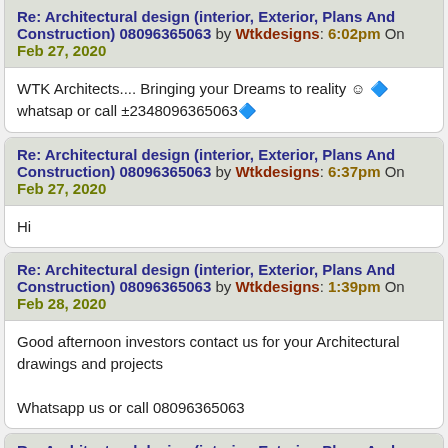Re: Architectural design (interior, Exterior, Plans And Construction) 08096365063 by Wtkdesigns: 6:02pm On Feb 27, 2020
WTK Architects.... Bringing your Dreams to reality ☺ 🔷 whatsap or call +2348096365063🔷
Re: Architectural design (interior, Exterior, Plans And Construction) 08096365063 by Wtkdesigns: 6:37pm On Feb 27, 2020
Hi
Re: Architectural design (interior, Exterior, Plans And Construction) 08096365063 by Wtkdesigns: 1:39pm On Feb 28, 2020
Good afternoon investors contact us for your Architectural drawings and projects

Whatsapp us or call 08096365063
Re: Architectural design (interior, Exterior, Plans And Construction) 08096365063 by Wtkdesigns: 4:43pm On Feb